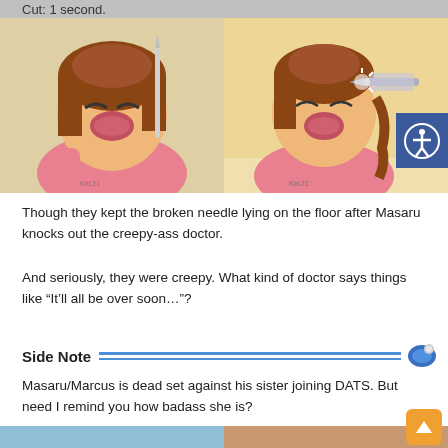Cut: 1 second.
[Figure (photo): Two side-by-side anime screenshots showing a girl with brown hair reacting with open mouth expression, appears to be at a doctor/medical scene with needles visible]
Though they kept the broken needle lying on the floor after Masaru knocks out the creepy-ass doctor.
And seriously, they were creepy. What kind of doctor says things like “It’ll all be over soon…”?
Side Note
Masaru/Marcus is dead set against his sister joining DATS. But need I remind you how badass she is?
[Figure (photo): Partial view of two more anime screenshots at the bottom of the page, partially cut off]